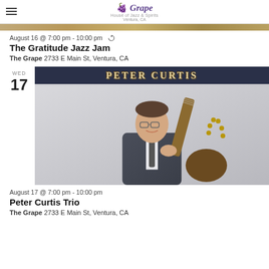The Grape - House of Jazz & Spirits, Ventura, CA
August 16 @ 7:00 pm - 10:00 pm
The Gratitude Jazz Jam
The Grape 2733 E Main St, Ventura, CA
[Figure (photo): Peter Curtis promotional photo showing a man in a suit holding a guitar, with 'PETER CURTIS' text banner on dark background]
August 17 @ 7:00 pm - 10:00 pm
Peter Curtis Trio
The Grape 2733 E Main St, Ventura, CA